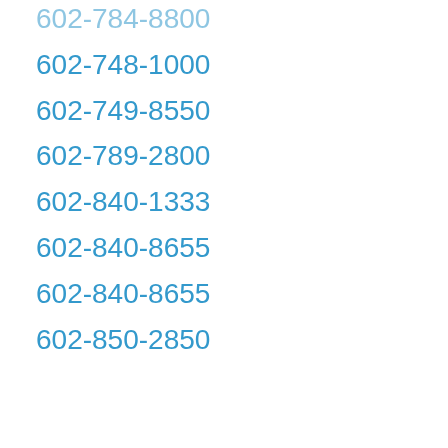602-784-8800
602-748-1000
602-749-8550
602-789-2800
602-840-1333
602-840-8655
602-840-8655
602-850-2850